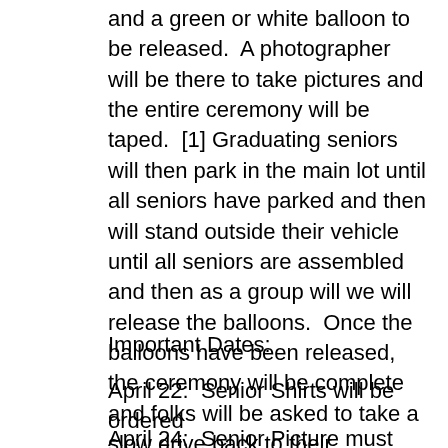and a green or white balloon to be released.  A photographer will be there to take pictures and the entire ceremony will be taped.  [1] Graduating seniors will then park in the main lot until all seniors have parked and then will stand outside their vehicle until all seniors are assembled and then as a group will we will release the balloons.  Once the balloons have been released, the ceremony will be complete and folks will be asked to take a slow drive back to their community and home.  (Horn blowing is encouraged and expected at this moment! #goseniorclass #Bucks2020)
Important Dates:
April 22:  Senior Shirts will be ordered
April 24:  Senior Picture must be turned in and